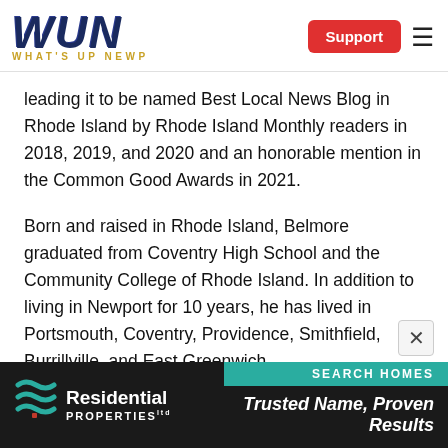WUN — WHAT'S UP NEWP — Support
leading it to be named Best Local News Blog in Rhode Island by Rhode Island Monthly readers in 2018, 2019, and 2020 and an honorable mention in the Common Good Awards in 2021.
Born and raised in Rhode Island, Belmore graduated from Coventry High School and the Community College of Rhode Island. In addition to living in Newport for 10 years, he has lived in Portsmouth, Coventry, Providence, Smithfield, Burrillville, and East Greenwich.
[Figure (logo): Residential Properties logo with teal wave icon and tagline 'Trusted Name, Proven Results' on dark background with SEARCH HOMES teal bar]